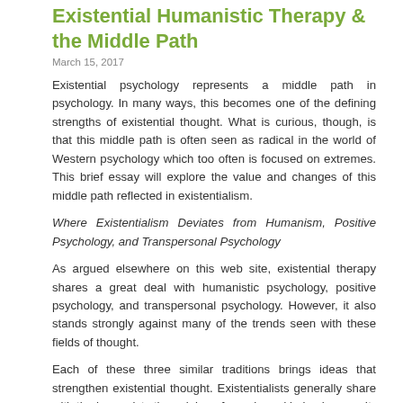Existential Humanistic Therapy & the Middle Path
March 15, 2017
Existential psychology represents a middle path in psychology. In many ways, this becomes one of the defining strengths of existential thought. What is curious, though, is that this middle path is often seen as radical in the world of Western psychology which too often is focused on extremes. This brief essay will explore the value and changes of this middle path reflected in existentialism.
Where Existentialism Deviates from Humanism, Positive Psychology, and Transpersonal Psychology
As argued elsewhere on this web site, existential therapy shares a great deal with humanistic psychology, positive psychology, and transpersonal psychology. However, it also stands strongly against many of the trends seen with these fields of thought.
Each of these three similar traditions brings ideas that strengthen existential thought. Existentialists generally share with the humanists the valuing of people and being human. It